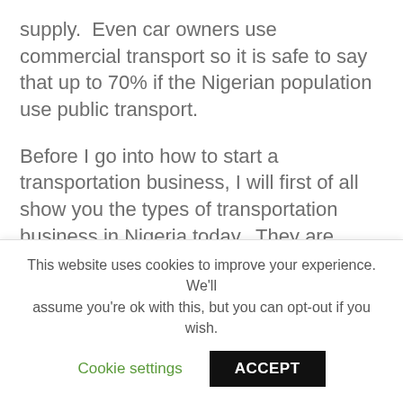supply.  Even car owners use commercial transport so it is safe to say that up to 70% if the Nigerian population use public transport.
Before I go into how to start a transportation business, I will first of all show you the types of transportation business in Nigeria today.  They are many and varied and different entrepreneurs choose different types of transportation business because of their interest and experience.
TYPES OF TRANSPORTATION BUSINESS
This website uses cookies to improve your experience. We'll assume you're ok with this, but you can opt-out if you wish.